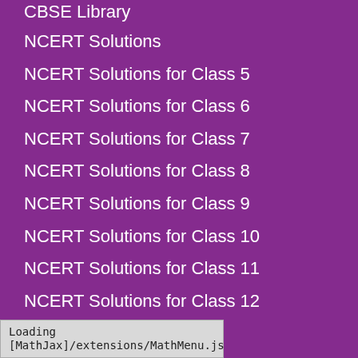CBSE Library
NCERT Solutions
NCERT Solutions for Class 5
NCERT Solutions for Class 6
NCERT Solutions for Class 7
NCERT Solutions for Class 8
NCERT Solutions for Class 9
NCERT Solutions for Class 10
NCERT Solutions for Class 11
NCERT Solutions for Class 12
RD Sharma Solutions
RS Aggarwal Solutions
Selina ICSE Solutions
Loading [MathJax]/extensions/MathMenu.js